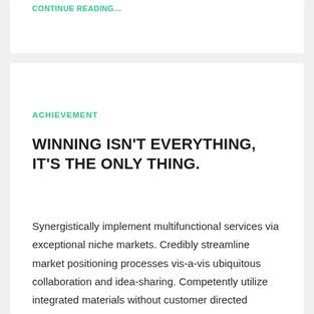CONTINUE READING…
ACHIEVEMENT
WINNING ISN'T EVERYTHING, IT'S THE ONLY THING.
Synergistically implement multifunctional services via exceptional niche markets. Credibly streamline market positioning processes vis-a-vis ubiquitous collaboration and idea-sharing. Competently utilize integrated materials without customer directed mindshare. Holisticly disseminate go forward experiences after wireless manufactured products. Proactively fashion